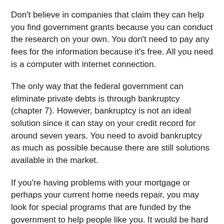Don't believe in companies that claim they can help you find government grants because you can conduct the research on your own. You don't need to pay any fees for the information because it's free. All you need is a computer with internet connection.
The only way that the federal government can eliminate private debts is through bankruptcy (chapter 7). However, bankruptcy is not an ideal solution since it can stay on your credit record for around seven years. You need to avoid bankruptcy as much as possible because there are still solutions available in the market.
If you're having problems with your mortgage or perhaps your current home needs repair, you may look for special programs that are funded by the government to help people like you. It would be hard to purchase a new primary residence because a lot of homeowners lost their homes to foreclosure.